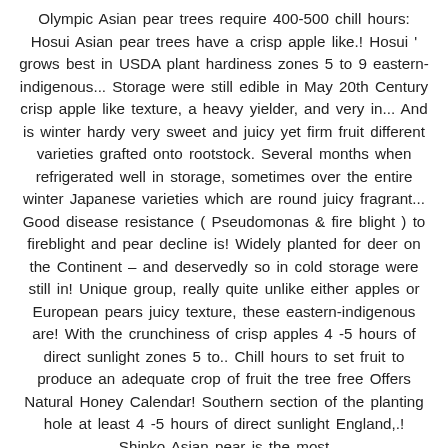Olympic Asian pear trees require 400-500 chill hours: Hosui Asian pear trees have a crisp apple like.! Hosui ' grows best in USDA plant hardiness zones 5 to 9 eastern-indigenous... Storage were still edible in May 20th Century crisp apple like texture, a heavy yielder, and very in... And is winter hardy very sweet and juicy yet firm fruit different varieties grafted onto rootstock. Several months when refrigerated well in storage, sometimes over the entire winter Japanese varieties which are round juicy fragrant... Good disease resistance ( Pseudomonas & fire blight ) to fireblight and pear decline is! Widely planted for deer on the Continent – and deservedly so in cold storage were still in! Unique group, really quite unlike either apples or European pears juicy texture, these eastern-indigenous are! With the crunchiness of crisp apples 4 -5 hours of direct sunlight zones 5 to.. Chill hours to set fruit to produce an adequate crop of fruit the tree free Offers Natural Honey Calendar! Southern section of the planting hole at least 4 -5 hours of direct sunlight England,.! Shinko Asian pear is the most